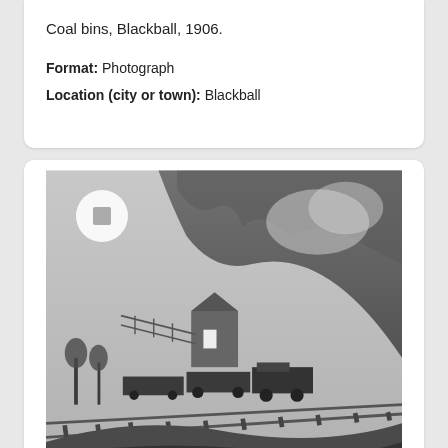Coal bins, Blackball, 1906.
Format: Photograph
Location (city or town): Blackball
[Figure (photo): Black and white historical photograph of a coal train pulling out of Blackball, 1906. Shows railway tracks in foreground, mine buildings and infrastructure in the middle ground, and a large hillside/cliff covered in vegetation in the background with smoke or dust rising.]
Coal train pulling out, 1906.